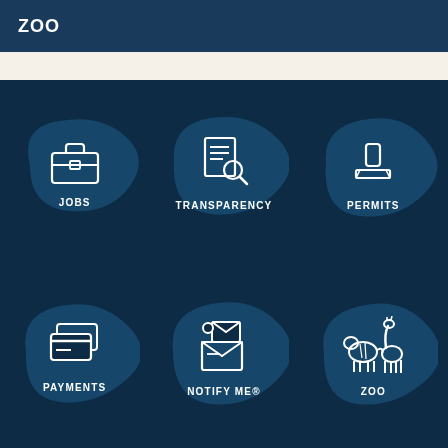ZOO
[Figure (infographic): Six icon tiles on dark navy background with brushstroke blob accents: JOBS (briefcase icon), TRANSPARENCY (document with magnifier icon), PERMITS (stamp/permit icon), PAYMENTS (credit card icon), NOTIFY ME® (envelope/notification icon), ZOO (zebra and giraffe icon)]